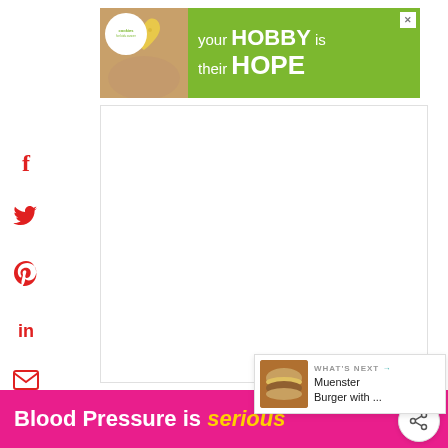[Figure (infographic): Green advertisement banner for Cookies for Kids Cancer charity: 'your HOBBY is their HOPE' with cookie/heart photo and logo. Close X button top right.]
[Figure (infographic): Social media sharing sidebar with Facebook (f), Twitter (bird), Pinterest (P), LinkedIn (in), Email (envelope), and Print (printer) icons in red on the left side.]
[Figure (infographic): Teal circular heart/favorite button floating on the right side of the page.]
[Figure (infographic): White circular share button with share icon floating on right side.]
[Figure (infographic): What's Next panel showing a burger thumbnail and text 'WHAT'S NEXT → Muenster Burger with ...']
Blood Pressure is serious
[Figure (infographic): Watermark text 'w°' repeated on lower right edge]